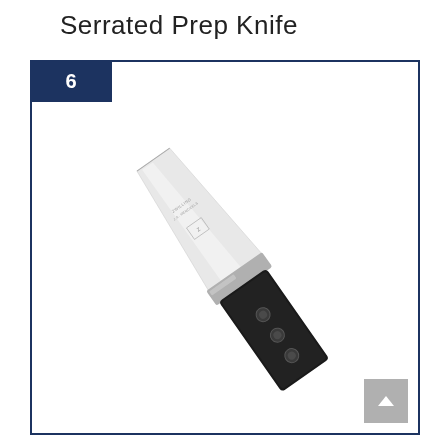Serrated Prep Knife
[Figure (photo): A serrated prep knife with a silver stainless steel blade and black handle with three rivets, positioned diagonally, branded with Zwilling J.A. Henckels logo on the blade. The number 6 appears in a dark navy badge in the upper left corner of the bordered card frame.]